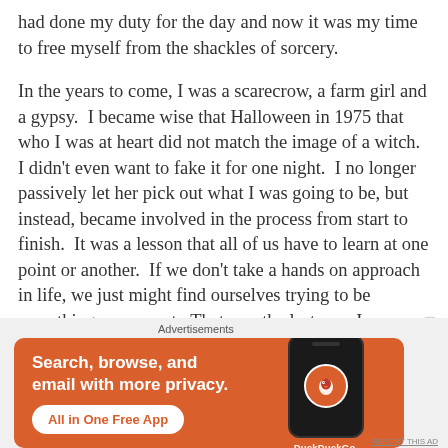had done my duty for the day and now it was my time to free myself from the shackles of sorcery.
In the years to come, I was a scarecrow, a farm girl and a gypsy.  I became wise that Halloween in 1975 that who I was at heart did not match the image of a witch. I didn't even want to fake it for one night.  I no longer passively let her pick out what I was going to be, but instead, became involved in the process from start to finish.  It was a lesson that all of us have to learn at one point or another.  If we don't take a hands on approach in life, we just might find ourselves trying to be something we are not.  That was the last year I ever went trick or shooting
[Figure (infographic): DuckDuckGo advertisement banner: orange background with white bold text 'Search, browse, and email with more privacy.' with a white button 'All in One Free App' and a phone mockup showing the DuckDuckGo logo on the right.]